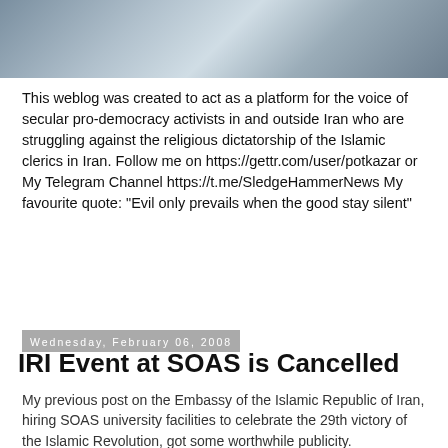[Figure (photo): A blurred photo strip showing people in grey/blue tones at the top of the page]
This weblog was created to act as a platform for the voice of secular pro-democracy activists in and outside Iran who are struggling against the religious dictatorship of the Islamic clerics in Iran. Follow me on https://gettr.com/user/potkazar or My Telegram Channel https://t.me/SledgeHammerNews My favourite quote: "Evil only prevails when the good stay silent"
Wednesday, February 06, 2008
IRI Event at SOAS is Cancelled
My previous post on the Embassy of the Islamic Republic of Iran, hiring SOAS university facilities to celebrate the 29th victory of the Islamic Revolution, got some worthwhile publicity.
Iranvajahan, Harry's Blog and the Spectator all picked up on it. Soon the whole thing snowballed into a spontaneous protest by Iranians and non-Iranians. Decent people who